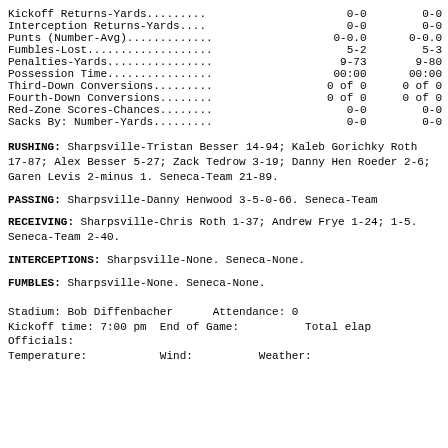| Stat | Team1 | Team2 |
| --- | --- | --- |
| Kickoff Returns-Yards......... | 0-0 | 0-0 |
| Interception Returns-Yards.... | 0-0 | 0-0 |
| Punts (Number-Avg)............. | 0-0.0 | 0-0.0 |
| Fumbles-Lost................... | 5-2 | 5-3 |
| Penalties-Yards................ | 9-73 | 9-80 |
| Possession Time................ | 00:00 | 00:00 |
| Third-Down Conversions......... | 0 of 0 | 0 of 0 |
| Fourth-Down Conversions........ | 0 of 0 | 0 of 0 |
| Red-Zone Scores-Chances........ | 0-0 | 0-0 |
| Sacks By: Number-Yards......... | 0-0 | 0-0 |
RUSHING: Sharpsville-Tristan Besser 14-94; Kaleb Gorichky Roth 17-87; Alex Besser 5-27; Zack Tedrow 3-19; Danny Henwood Roeder 2-6; Garen Levis 2-minus 1. Seneca-Team 21-89.
PASSING: Sharpsville-Danny Henwood 3-5-0-66. Seneca-Team
RECEIVING: Sharpsville-Chris Roth 1-37; Andrew Frye 1-24; 1-5. Seneca-Team 2-40.
INTERCEPTIONS: Sharpsville-None. Seneca-None.
FUMBLES: Sharpsville-None. Seneca-None.
Stadium: Bob Diffenbacher    Attendance: 0
Kickoff time: 7:00 pm  End of Game:         Total elap
Officials:
Temperature:          Wind:          Weather: